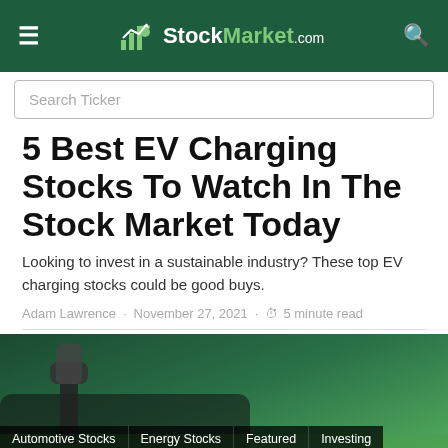StockMarket.com
Search Ticker
5 Best EV Charging Stocks To Watch In The Stock Market Today
Looking to invest in a sustainable industry? These top EV charging stocks could be good buys.
Adam Lawrence · November 27, 2021 · 5 minute read
[Figure (photo): Photo of an EV charging port/plug on a green electric vehicle, with category tags overlaid at the bottom: Automotive Stocks, Energy Stocks, Featured, Investing, Stocks to Watch]